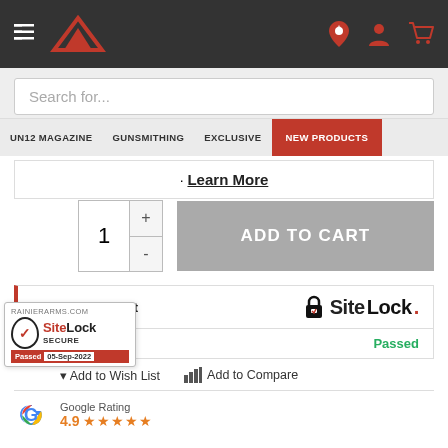Navigation header with menu icon, Rainier Arms logo, location pin, account, and cart icons
Search for...
UN12 MAGAZINE | GUNSMITHING | EXCLUSIVE | NEW PRODUCTS
Learn More
1  +  -  ADD TO CART
Secure Checkout | SiteLock | ith confidence. | Passed
Add to Wish List  Add to Compare
Google Rating
4.9 ★★★★★